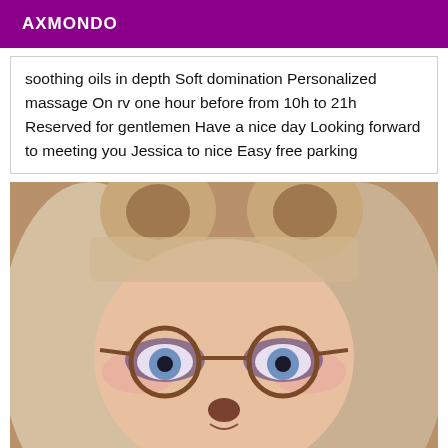AXMONDO
soothing oils in depth Soft domination Personalized massage On rv one hour before from 10h to 21h Reserved for gentlemen Have a nice day Looking forward to meeting you Jessica to nice Easy free parking
[Figure (photo): Close-up photo of a person wearing round tortoiseshell glasses with a Snapchat bear ears filter applied, showing fluffy bear ears on top of the head. The person has blonde hair and is looking at the camera.]